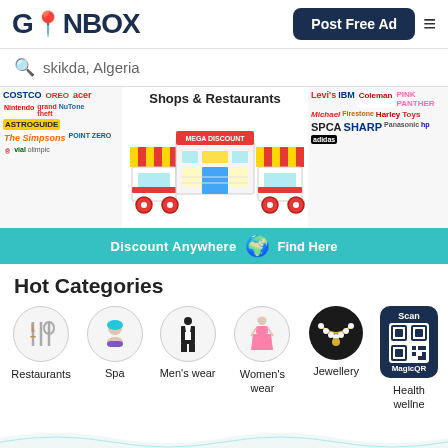[Figure (logo): GoNBox logo with teal location pin replacing the 'O']
Post Free Ad
skikda, Algeria
[Figure (illustration): Banner showing Shops & Restaurants with street food carts and mega discount store, brand logos on sides, teal strip reading 'Discount Anywhere Find Here']
Hot Categories
Restaurants
Spa
Men's wear
Women's wear
Jewellery
Health wellne